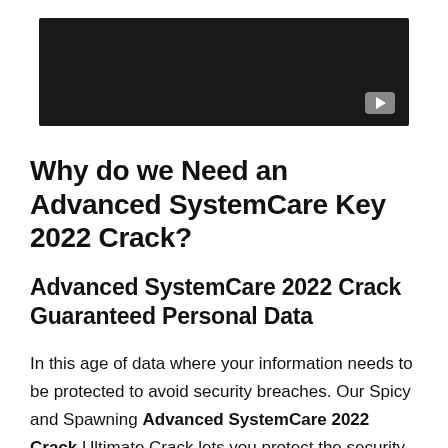[Figure (screenshot): Dark video thumbnail with a play button icon in the bottom-right corner]
Why do we Need an Advanced SystemCare Key 2022 Crack?
Advanced SystemCare 2022 Crack Guaranteed Personal Data
In this age of data where your information needs to be protected to avoid security breaches. Our Spicy and Spawning Advanced SystemCare 2022 Crack Ultimate Crack lets you protect the security of your sensitive information, including contact information, email addresses, and neighborhood information to